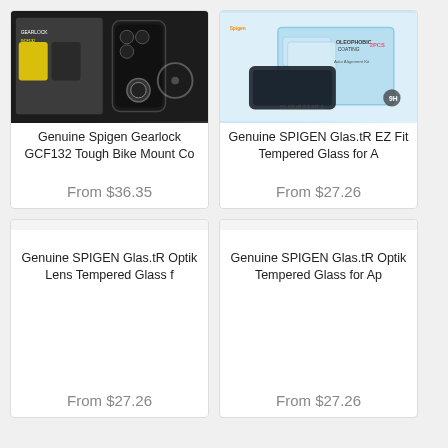[Figure (photo): Product image: Genuine Spigen Gearlock GCF132 Tough Bike Mount Case - black phone case with bike mount, yellow accents packaging]
Genuine Spigen Gearlock GCF132 Tough Bike Mount Co
From $36.35
[Figure (photo): Product image: Genuine SPIGEN Glas.tR EZ Fit Tempered Glass - clear screen protectors with auto alignment kit packaging]
Genuine SPIGEN Glas.tR EZ Fit Tempered Glass for A
From $27.26
Genuine SPIGEN Glas.tR Optik Lens Tempered Glass f
From $27.26
Genuine SPIGEN Glas.tR Optik Tempered Glass for Ap
From $27.26